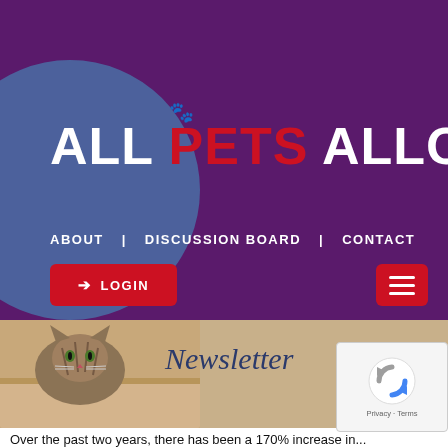[Figure (screenshot): Website header with dark purple background, blue-grey circular arc on left, and 'ALL PETS ALLOWED' logo in large white bold uppercase text with red stylized lettering for 'PETS'. Navigation links: ABOUT, DISCUSSION BOARD, CONTACT. Red LOGIN button with arrow icon on left. Red hamburger menu button on right.]
ALL PETS ALLOWED
ABOUT   DISCUSSION BOARD   CONTACT
➔ LOGIN
[Figure (photo): Kitten peeking over the edge of a cardboard box, brown tabby, on a beige/tan background. Overlaid with italic 'Newsletter' text in navy blue.]
Newsletter
Over the past two years, there has been a 170% increase in...
[Figure (other): Google reCAPTCHA widget overlay in bottom-right, showing the reCAPTCHA logo (blue/grey circular arrows) with Privacy and Terms text below.]